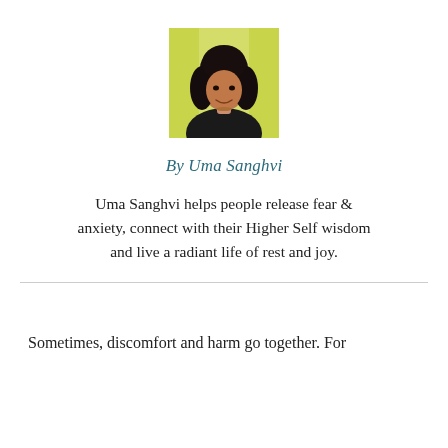[Figure (photo): Headshot photo of Uma Sanghvi, a woman with dark hair, smiling, against a yellow/light background]
By Uma Sanghvi
Uma Sanghvi helps people release fear & anxiety, connect with their Higher Self wisdom and live a radiant life of rest and joy.
Sometimes, discomfort and harm go together. For